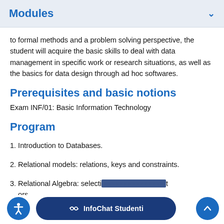Modules
to formal methods and a problem solving perspective, the student will acquire the basic skills to deal with data management in specific work or research situations, as well as the basics for data design through ad hoc softwares.
Prerequisites and basic notions
Exam INF/01: Basic Information Technology
Program
1. Introduction to Databases.
2. Relational models: relations, keys and constraints.
3. Relational Algebra: selecti... t ors.